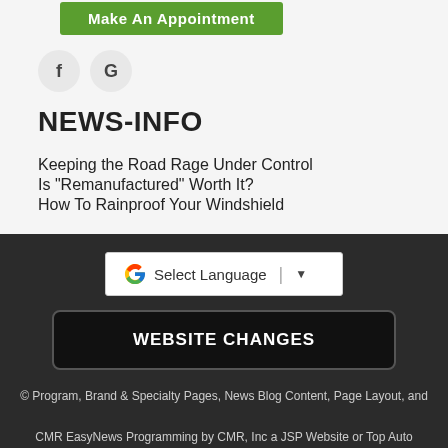[Figure (other): Make An Appointment green button (partially visible at top)]
[Figure (other): Social media icons: f (Facebook) and G (Google) in gray circles]
NEWS-INFO
Keeping the Road Rage Under Control
Is "Remanufactured" Worth It?
How To Rainproof Your Windshield
[Figure (other): Google Translate Select Language dropdown widget]
WEBSITE CHANGES
© Program, Brand & Specialty Pages, News Blog Content, Page Layout, and CMR EasyNews Programming by CMR, Inc a JSP Website or Top Auto Website